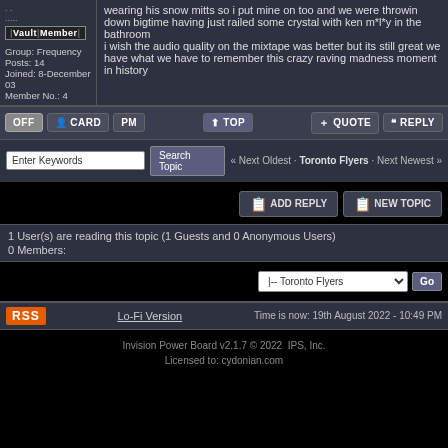wearing his snow mitts so i put mine on too and we were throwin down bigtime having just railed some crystal with ken m*l*y in the bathroom
i wish the audio quality on the mixtape was better but its still great we have what we have to remember this crazy raving madness moment in history
. .
.....
Vault Member
Group: Frequency
Posts: 14
Joined: 8-December 03
Member No.: 4
OFF  CARD  PM  TOP  QUOTE  REPLY
Enter Keywords  Search Topic  « Next Oldest · Toronto Flyers · Next Newest »
ADD REPLY  NEW TOPIC
1 User(s) are reading this topic (1 Guests and 0 Anonymous Users)
0 Members:
|-- Toronto Flyers  Go
RSS  Lo-Fi Version  Time is now: 19th August 2022 - 10:49 PM
Invision Power Board v2.1.7 © 2022  IPS, Inc.
Licensed to: cydonian.com